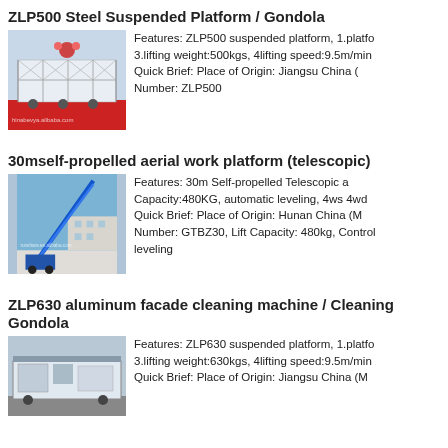ZLP500 Steel Suspended Platform / Gondola
[Figure (photo): Photo of ZLP500 steel suspended platform / gondola on a red display stand with watermark chinabevya.alibaba.com]
Features: ZLP500 suspended platform, 1.platform 3.lifting weight:500kgs, 4lifting speed:9.5m/min Quick Brief: Place of Origin: Jiangsu China ( Number: ZLP500
30mself-propelled aerial work platform (telescopic)
[Figure (photo): Photo of a blue 30m self-propelled telescopic aerial work platform boom extended against a blue sky with watermark runshare.en.alibaba.com]
Features: 30m Self-propelled Telescopic a Capacity:480KG, automatic leveling, 4ws 4wd Quick Brief: Place of Origin: Hunan China (M Number: GTBZ30, Lift Capacity: 480kg, Control leveling
ZLP630 aluminum facade cleaning machine / Cleaning Gondola
[Figure (photo): Photo of ZLP630 aluminum facade cleaning machine / cleaning gondola in a workshop setting]
Features: ZLP630 suspended platform, 1.platfo 3.lifting weight:630kgs, 4lifting speed:9.5m/min Quick Brief: Place of Origin: Jiangsu China (M